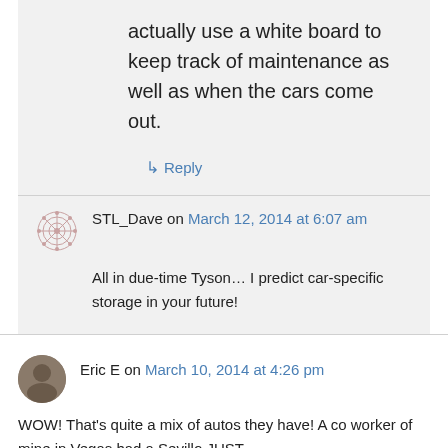actually use a white board to keep track of maintenance as well as when the cars come out.
↳ Reply
STL_Dave on March 12, 2014 at 6:07 am
All in due-time Tyson… I predict car-specific storage in your future!
Eric E on March 10, 2014 at 4:26 pm
WOW! That's quite a mix of autos they have! A co worker of mine in Vegas had a Sevillo JUST